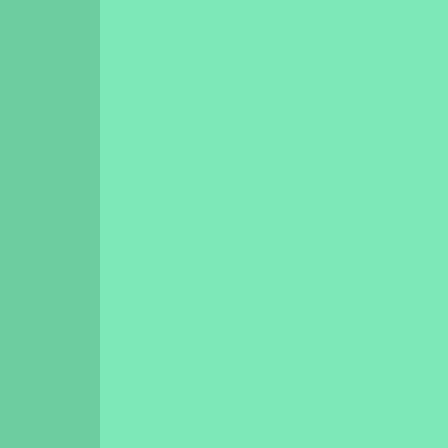For a po http://lit
Charlie Essentia
Arguably singer/so Records, America and cour in the sa Charles. from the and "Mo provides and som from the the Mud
There ar is as soli Home". Elvis Pre Jones an ground!